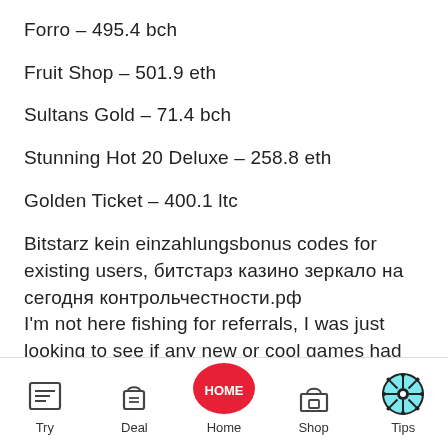Forro – 495.4 bch
Fruit Shop – 501.9 eth
Sultans Gold – 71.4 bch
Stunning Hot 20 Deluxe – 258.8 eth
Golden Ticket – 400.1 ltc
Bitstarz kein einzahlungsbonus codes for existing users, битстарз казино зеркало на сегодня контрольчестности.рф
I'm not here fishing for referrals, I was just looking to see if any new or cool games had popped up recently.
Try  Deal  Home  Shop  Tips